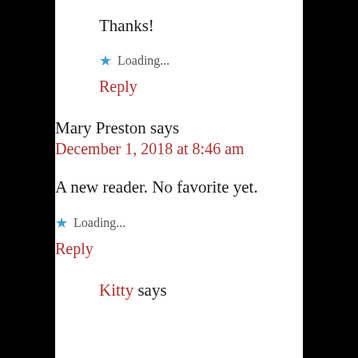Thanks!
★ Loading...
Reply
Mary Preston says
December 1, 2018 at 8:46 am
A new reader. No favorite yet.
★ Loading...
Reply
Kitty says